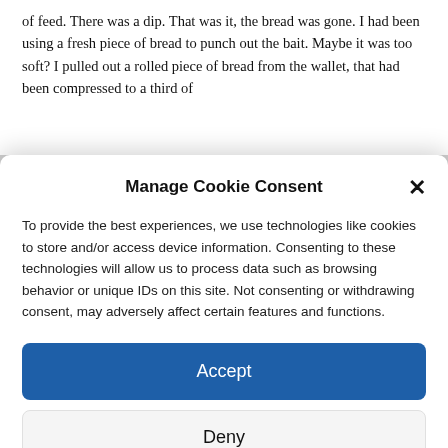of feed. There was a dip. That was it, the bread was gone. I had been using a fresh piece of bread to punch out the bait. Maybe it was too soft? I pulled out a rolled piece of bread from the wallet, that had been compressed to a third of
Manage Cookie Consent
To provide the best experiences, we use technologies like cookies to store and/or access device information. Consenting to these technologies will allow us to process data such as browsing behavior or unique IDs on this site. Not consenting or withdrawing consent, may adversely affect certain features and functions.
Accept
Deny
View preferences
Cookie Policy